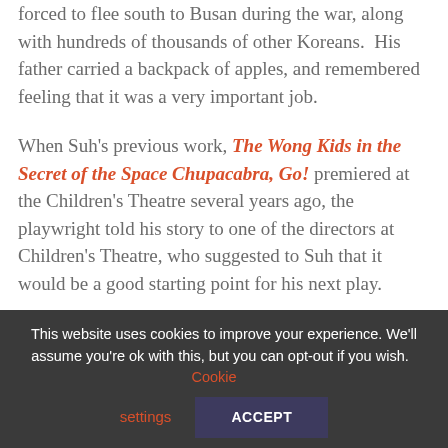forced to flee south to Busan during the war, along with hundreds of thousands of other Koreans.  His father carried a backpack of apples, and remembered feeling that it was a very important job.

When Suh's previous work, The Wong Kids in the Secret of the Space Chupacabra, Go! premiered at the Children's Theatre several years ago, the playwright told his story to one of the directors at Children's Theatre, who suggested to Suh that it would be a good starting point for his next play.
This website uses cookies to improve your experience. We'll assume you're ok with this, but you can opt-out if you wish. Cookie settings ACCEPT